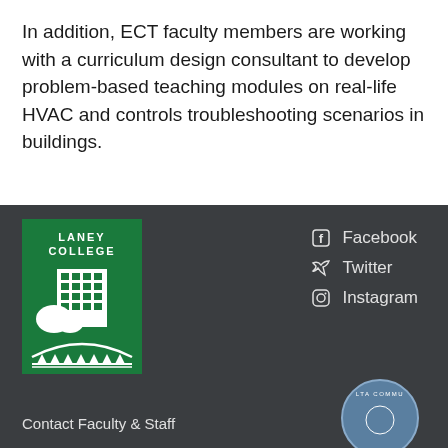In addition, ECT faculty members are working with a curriculum design consultant to develop problem-based teaching modules on real-life HVAC and controls troubleshooting scenarios in buildings.
[Figure (logo): Laney College logo: green square with white text 'LANEY COLLEGE' and building/bridge illustration]
Facebook
Twitter
Instagram
Contact Faculty & Staff
[Figure (logo): Peralta Community College district circular badge/seal, partially visible at bottom right]